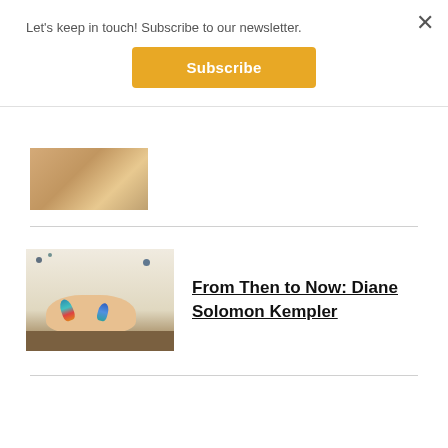Let's keep in touch! Subscribe to our newsletter.
×
Subscribe
[Figure (photo): Partially visible art/sculpture image at top of page]
[Figure (photo): Sculpture installation with two reclining figures decorated with colorful feathers and hanging decorative elements on the wall behind]
From Then to Now: Diane Solomon Kempler